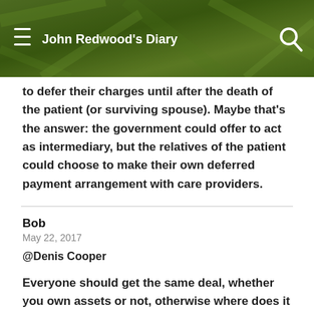John Redwood's Diary
to defer their charges until after the death of the patient (or surviving spouse). Maybe that's the answer: the government could offer to act as intermediary, but the relatives of the patient could choose to make their own deferred payment arrangement with care providers.
Bob
May 22, 2017
@Denis Cooper

Everyone should get the same deal, whether you own assets or not, otherwise where does it end?